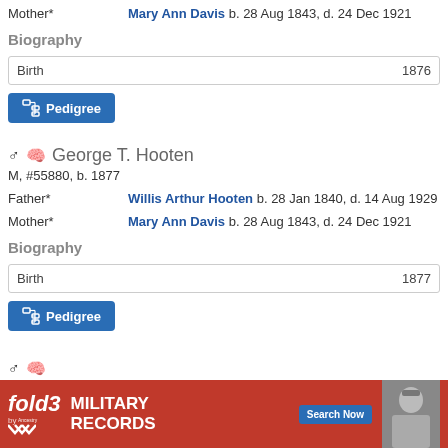Mother* Mary Ann Davis b. 28 Aug 1843, d. 24 Dec 1921
Biography
Birth 1876
Pedigree
George T. Hooten
M, #55880, b. 1877
Father* Willis Arthur Hooten b. 28 Jan 1840, d. 14 Aug 1929
Mother* Mary Ann Davis b. 28 Aug 1843, d. 24 Dec 1921
Biography
Birth 1877
Pedigree
[Figure (screenshot): fold3 by Ancestry advertisement banner for Military Records with Search Now button and photo of a soldier]